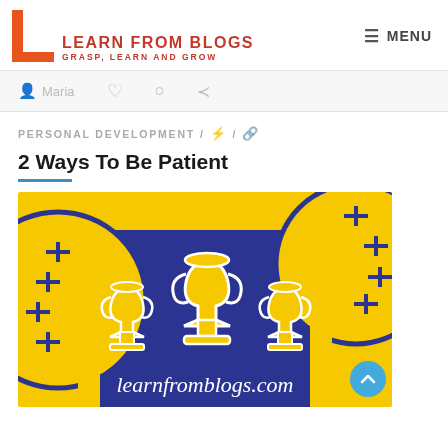LEARN FROM BLOGS — GRASP, LEARN AND GROW — MENU
Maria
PERSONAL DEVELOPMENT / ⚡ / 🔗
2 Ways To Be Patient
[Figure (illustration): Blog featured image on navy/blue background with three yellow trophy cups, yellow circular football shapes with cross-stitch details in corners, and cursive text 'learnfromblogs.com' at bottom]